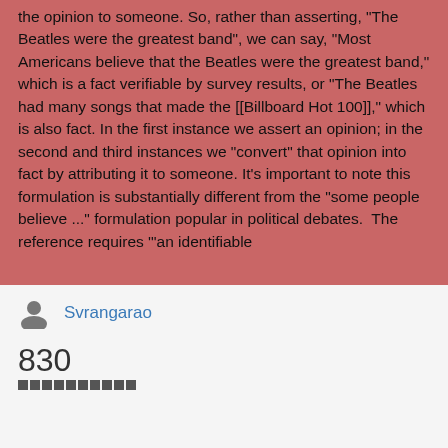the opinion to someone. So, rather than asserting, "The Beatles were the greatest band", we can say, "Most Americans believe that the Beatles were the greatest band," which is a fact verifiable by survey results, or "The Beatles had many songs that made the [[Billboard Hot 100]]," which is also fact. In the first instance we assert an opinion; in the second and third instances we "convert" that opinion into fact by attributing it to someone. It's important to note this formulation is substantially different from the "some people believe ..." formulation popular in political debates.  The reference requires '"an identifiable
Svrangarao
830